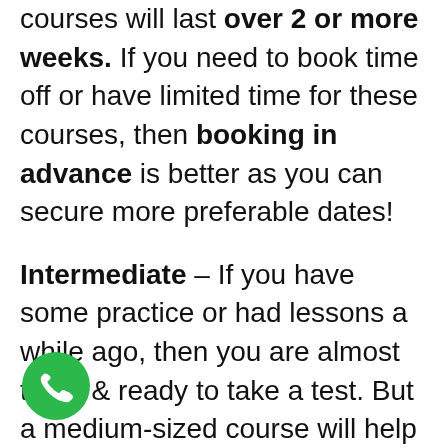courses will last over 2 or more weeks. If you need to book time off or have limited time for these courses, then booking in advance is better as you can secure more preferable dates!
Intermediate – If you have some practice or had lessons a while ago, then you are almost there & ready to take a test. But a medium-sized course will help close the gap between where you're currently at to becoming test standard.